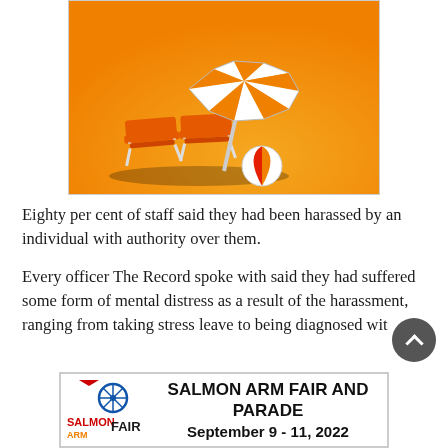[Figure (photo): Beach scene with orange and white striped umbrella, orange lounge chairs, and a beach ball on an orange background]
Eighty per cent of staff said they had been harassed by an individual with authority over them.
Every officer The Record spoke with said they had suffered some form of mental distress as a result of the harassment, ranging from taking stress leave to being diagnosed with a
[Figure (other): Advertisement banner for Salmon Arm Fair and Parade, September 9 - 11, 2022]